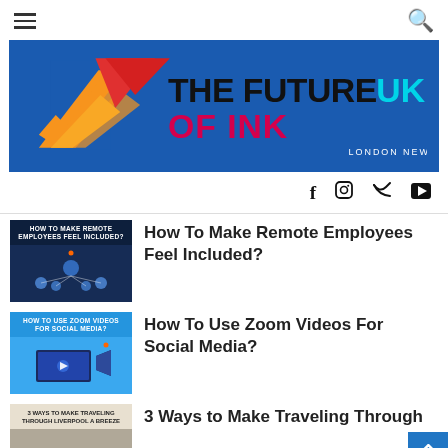Navigation header with hamburger menu and search icon
[Figure (logo): The Future of Ink UK - London News logo on blue background with orange/red geometric shapes]
[Figure (other): Social media icons: Facebook, Instagram, Twitter, YouTube]
How To Make Remote Employees Feel Included?
How To Use Zoom Videos For Social Media?
3 Ways to Make Traveling Through